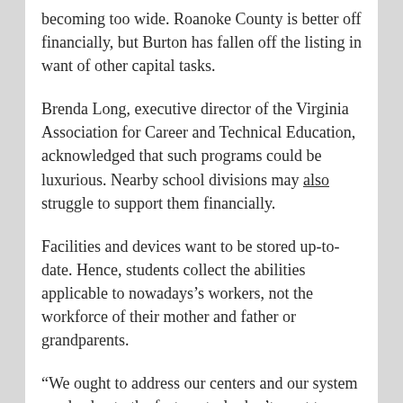becoming too wide. Roanoke County is better off financially, but Burton has fallen off the listing in want of other capital tasks.
Brenda Long, executive director of the Virginia Association for Career and Technical Education, acknowledged that such programs could be luxurious. Nearby school divisions may also struggle to support them financially.
Facilities and devices want to be stored up-to-date. Hence, students collect the abilities applicable to nowadays's workers, not the workforce of their mother and father or grandparents.
“We ought to address our centers and our system needs, due to the fact we truly don’t want to educate college students on an out-of-date device that they would no longer discover in the place of business,” she